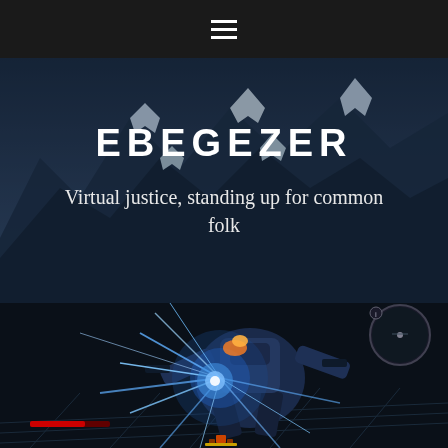Navigation menu (hamburger icon)
EBEGEZER
Virtual justice, standing up for common folk
[Figure (screenshot): Screenshot of a video game showing a large mechanical robot/mech with blue energy explosion effects, set against a dark battlefield background with mountains. UI elements visible including a circular minimap in the top right corner.]